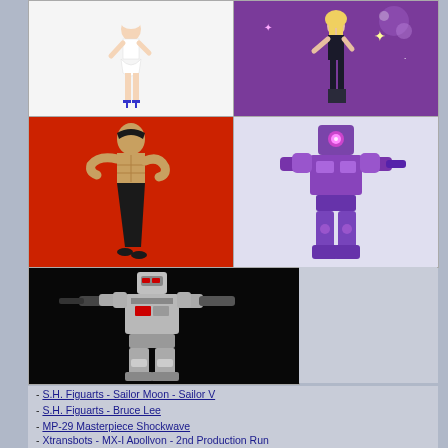[Figure (photo): S.H. Figuarts Sailor Moon - Sailor V figure, white background, white-clad female figure with blue heels]
[Figure (photo): S.H. Figuarts - Sailor V figure on purple background with sparkle effects]
[Figure (photo): S.H. Figuarts - Bruce Lee action figure in fighting stance on red background]
[Figure (photo): MP-29 Masterpiece Shockwave - purple Transformer robot figure]
[Figure (photo): Xtransbots MX-I Apollyon 2nd Production Run - silver and black robot figure on black background]
S.H. Figuarts - Sailor Moon - Sailor V
S.H. Figuarts - Bruce Lee
MP-29 Masterpiece Shockwave
Xtransbots - MX-I Apollyon - 2nd Production Run
Ocular Max - Perfection Series - PS-01A Sphinx